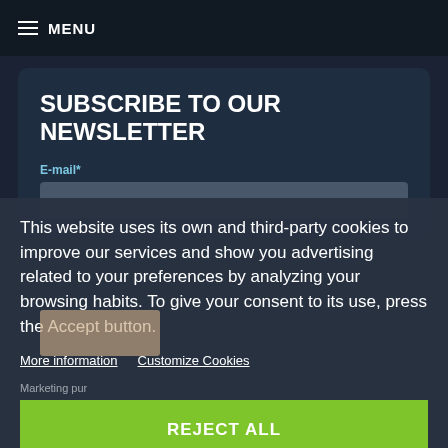≡ MENU
SUBSCRIBE TO OUR NEWSLETTER
E-mail*
This website uses its own and third-party cookies to improve our services and show you advertising related to your preferences by analyzing your browsing habits. To give your consent to its use, press the Accept button.
More information   Customize Cookies
Marketing pur
REJECT ALL
I ACCEPT